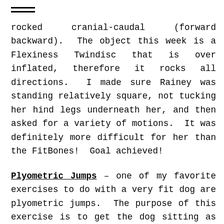——
rocked cranial-caudal (forward backward).  The object this week is a Flexiness Twindisc that is over inflated, therefore it rocks all directions.  I made sure Rainey was standing relatively square, not tucking her hind legs underneath her, and then asked for a variety of motions.  It was definitely more difficult for her than the FitBones!  Goal achieved!
Plyometric Jumps – one of my favorite exercises to do with a very fit dog are plyometric jumps.  The purpose of this exercise is to get the dog sitting as close to an object as possible, and then have them jump straight up unto said object without pulling themselves with their front legs.  It is all about teaching power from the rear end push off.  You can see how the Rock Back Sit to Stand has set her up for success for this exercise.  In 2019,